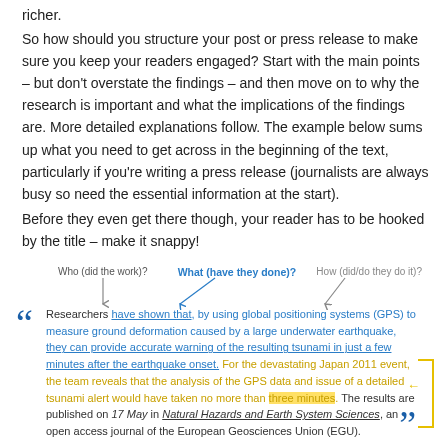richer.
So how should you structure your post or press release to make sure you keep your readers engaged? Start with the main points – but don't overstate the findings – and then move on to why the research is important and what the implications of the findings are. More detailed explanations follow. The example below sums up what you need to get across in the beginning of the text, particularly if you're writing a press release (journalists are always busy so need the essential information at the start).
Before they even get there though, your reader has to be hooked by the title – make it snappy!
[Figure (infographic): Annotated press release excerpt showing Who (did the work)?, What (have they done)? [in blue, bold], and How (did/do they do it)? labels with arrows pointing to parts of a quotation block. The quotation reads: Researchers have shown that, by using global positioning systems (GPS) to measure ground deformation caused by a large underwater earthquake, they can provide accurate warning of the resulting tsunami in just a few minutes after the earthquake onset. For the devastating Japan 2011 event, the team reveals that the analysis of the GPS data and issue of a detailed tsunami alert would have taken no more than three minutes. The results are published on 17 May in Natural Hazards and Earth System Sciences, an open access journal of the European Geosciences Union (EGU). Large blue quotation marks frame the text. A yellow border box on the right and a yellow arrow point to highlighted sentences. Blue text highlights 'have shown that' and the second sentence. Yellow highlight marks 'three minutes' phrase.]